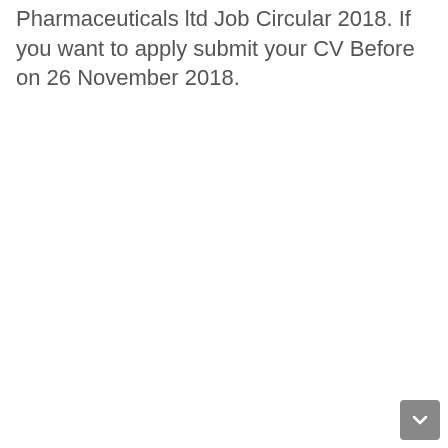Pharmaceuticals ltd Job Circular 2018. If you want to apply submit your CV Before on 26 November 2018.